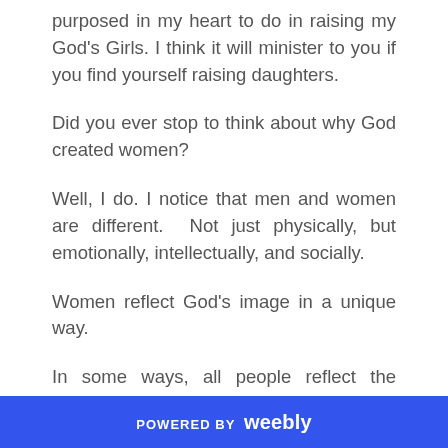purposed in my heart to do in raising my God's Girls. I think it will minister to you if you find yourself raising daughters.
Did you ever stop to think about why God created women?
Well, I do. I notice that men and women are different.  Not just physically, but emotionally, intellectually, and socially.
Women reflect God's image in a unique way.
In some ways, all people reflect the image of God, but in a unique way, women were created to reflect God as
POWERED BY weebly